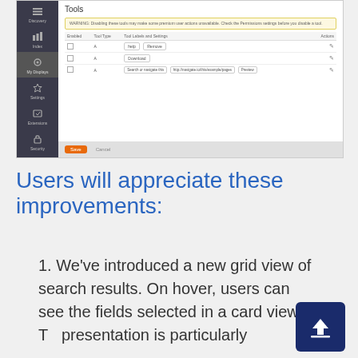[Figure (screenshot): Screenshot of a web application showing a 'Tools' settings page with a left navigation sidebar (dark background, icons for Discovery, Index, My Displays, Settings, Extensions, Security), a warning bar, a table with columns for Enabled, Tool Type, Tool Labels and Settings, and Actions with several rows of tool configurations, and a Save/Cancel button bar at the bottom.]
Users will appreciate these improvements:
1. We've introduced a new grid view of search results. On hover, users can see the fields selected in a card view. T… presentation is particularly